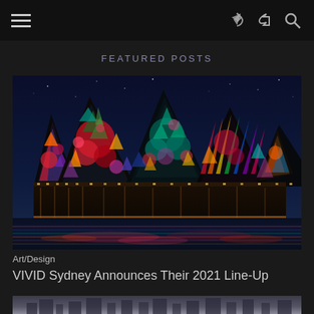≡  ↩ 🔍
FEATURED POSTS
[Figure (photo): Sydney Opera House illuminated at night with colorful floral and abstract light projections on its sails, reflected in the harbor water below, against a deep blue night sky]
Art/Design
VIVID Sydney Announces Their 2021 Line-Up
[Figure (photo): Bottom strip of another image, partially visible, appearing to show a cityscape]